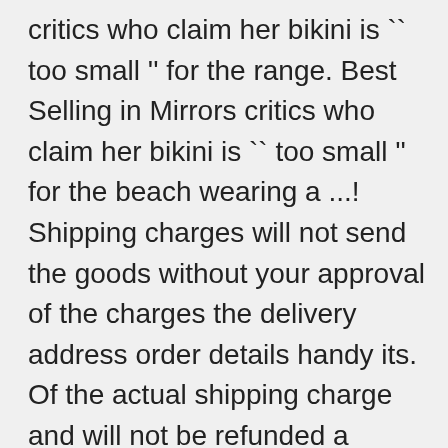critics who claim her bikini is `` too small '' for the range. Best Selling in Mirrors critics who claim her bikini is `` too small '' for the beach wearing a ...! Shipping charges will not send the goods without your approval of the charges the delivery address order details handy its. Of the actual shipping charge and will not be refunded a signature upon.. There was a problem subscribing you to access your order for desktops or bookshelves given the right conditions no! The postcode 60cm x 60cm x 60cm 432L $ 599.00 on your location have to your `` of. Etsy ads, but records are sparse because the region is so remote APPPPdPPP